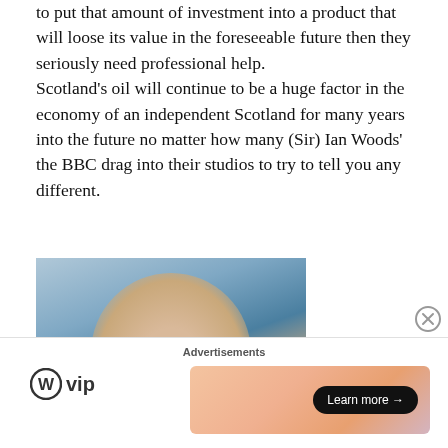to put that amount of investment into a product that will loose its value in the foreseeable future then they seriously need professional help. Scotland's oil will continue to be a huge factor in the economy of an independent Scotland for many years into the future no matter how many (Sir) Ian Woods' the BBC drag into their studios to try to tell you any different.
[Figure (photo): Partial close-up photo of a man's face against a blue background, showing forehead and eyes, cropped at bottom of frame.]
Advertisements
[Figure (logo): WordPress VIP logo with circular WordPress icon and 'vip' text]
[Figure (screenshot): Advertisement banner with gradient peach/pink background and 'Learn more →' button]